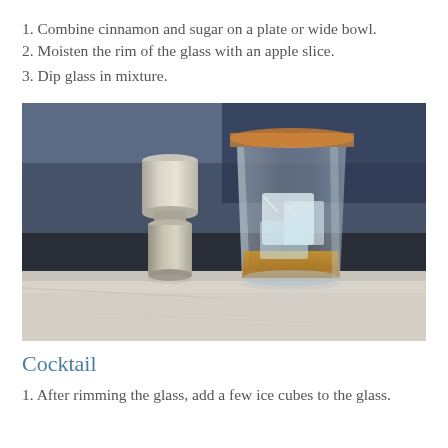1. Combine cinnamon and sugar on a plate or wide bowl.
2. Moisten the rim of the glass with an apple slice.
3. Dip glass in mixture.
[Figure (photo): A cocktail glass with cinnamon-sugar rim, filled with amber liquid and ice cubes, next to a silver jigger on a marble surface with a blurred dark background.]
Cocktail
1. After rimming the glass, add a few ice cubes to the glass.